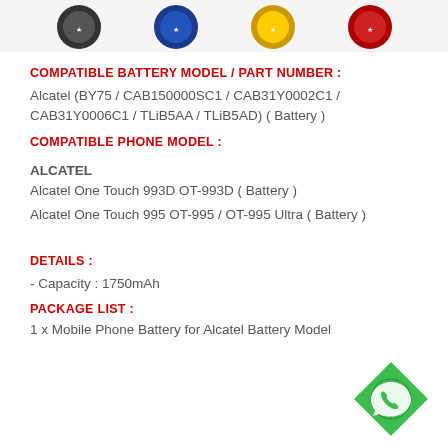[Figure (illustration): Row of colorful badge/medal icons partially visible at top of page]
COMPATIBLE BATTERY MODEL / PART NUMBER :
Alcatel (BY75 / CAB150000SC1 / CAB31Y0002C1 / CAB31Y0006C1 / TLiB5AA / TLiB5AD) ( Battery )
COMPATIBLE PHONE MODEL :
ALCATEL
Alcatel One Touch 993D OT-993D ( Battery )
Alcatel One Touch 995 OT-995 / OT-995 Ultra ( Battery )
DETAILS :
- Capacity : 1750mAh
PACKAGE LIST :
1 x Mobile Phone Battery for Alcatel Battery Model
[Figure (logo): Green diamond-shaped WhatsApp icon badge in bottom right corner]